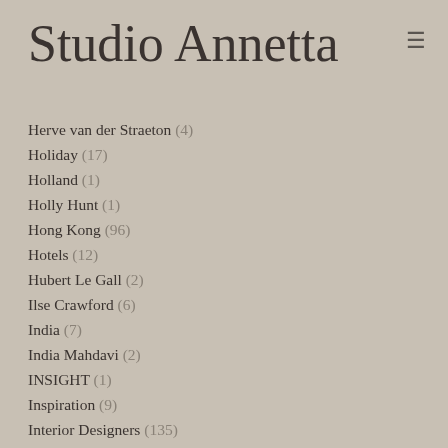Studio Annetta
Herve van der Straeton (4)
Holiday (17)
Holland (1)
Holly Hunt (1)
Hong Kong (96)
Hotels (12)
Hubert Le Gall (2)
Ilse Crawford (6)
India (7)
India Mahdavi (2)
INSIGHT (1)
Inspiration (9)
Interior Designers (135)
Isabel López-Quesada (1)
Italy (1)